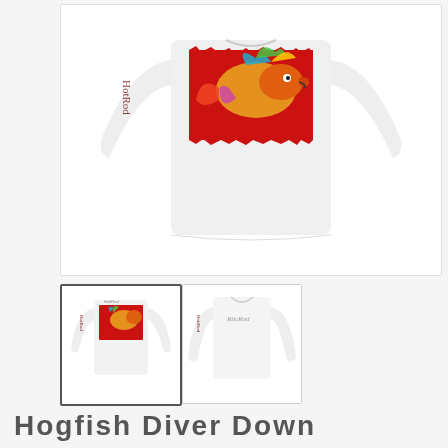[Figure (photo): Main product image: white long-sleeve fishing performance shirt with colorful hogfish / diver down graphic on the back and script logo on the sleeve, shown from the back view.]
[Figure (photo): Thumbnail 1: back view of the white long-sleeve shirt with red hogfish graphic.]
[Figure (photo): Thumbnail 2: front view of the white long-sleeve shirt with script logo.]
Hogfish Diver Down Performance...